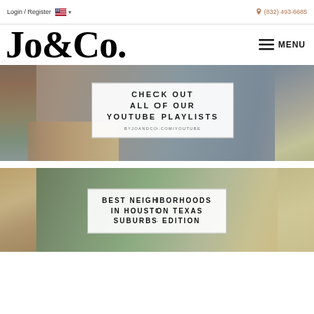Login / Register  🇺🇸 ▾  (832) 493-6685
Jo&Co.
MENU
[Figure (photo): Interior room photo with a mid-century modern sideboard, large plant, brick wall, and vintage clock. Overlaid white box with text: CHECK OUT ALL OF OUR YOUTUBE PLAYLISTS — byjoandco.com/youtube]
[Figure (photo): Aerial photo of a Houston Texas suburb showing treetops and modern buildings. Overlaid white box with text: BEST NEIGHBORHOODS IN HOUSTON TEXAS SUBURBS EDITION]